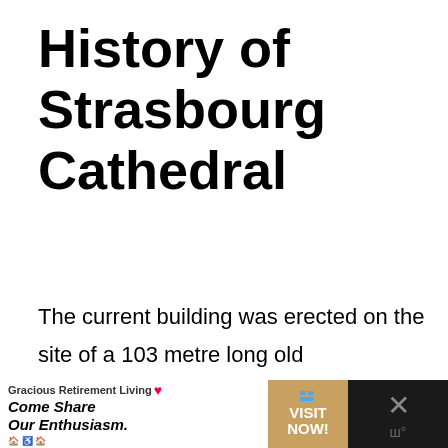History of Strasbourg Cathedral
The current building was erected on the site of a 103 metre long old Romanesque basilica, commissioned in 1015 by the Bishop of Strasbourg, Werner of Habsburg, with the support of Emperor Henri II. This Ottonian st...
[Figure (other): Advertisement banner at the bottom of the page. Shows 'Gracious Retirement Living' with a heart logo and the slogan 'Come Share Our Enthusiasm.' alongside a 'VISIT NOW!' call-to-action button on a tan/gold background, and a close (X) button on a dark background.]